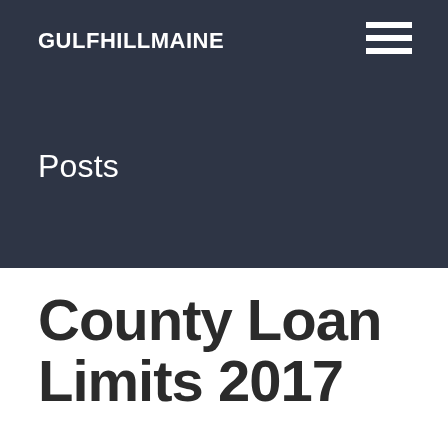GULFHILLMAINE
Posts
County Loan Limits 2017